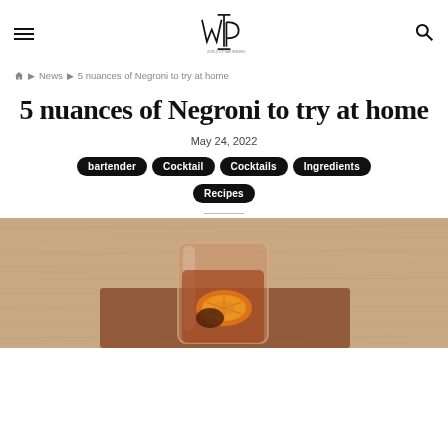WTB logo, hamburger menu, search icon
🏠 › News › 5 nuances of Negroni to try at home
5 nuances of Negroni to try at home
May 24, 2022
bartender
Cocktail
Cocktails
Ingredients
Recipes
[Figure (photo): A Negroni cocktail in a glass with an orange slice garnish on a beige linen background]